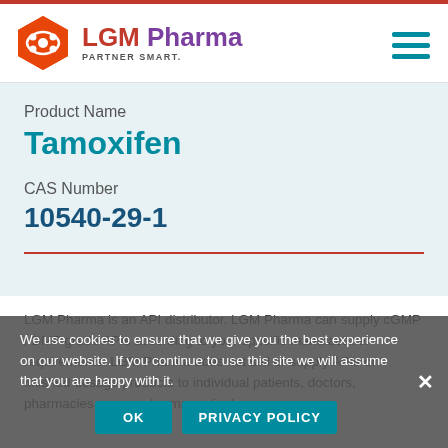[Figure (logo): LGM Pharma logo with orange hexagon icon and purple/red brand name, tagline PARTNER SMART.]
Product Name
Tamoxifen
CAS Number
10540-29-1
LGM Pharma is an API distributor. LGM Pharma can supply cGMP / DMF grade APIs according to your specific manufacturer requirements. LGM Pharma does not sell or supply APIs or finished dosage products to individual patients, doctors, pharmacies, or any pharmaceutical
We use cookies to ensure that we give you the best experience on our website. If you continue to use this site we will assume that you are happy with it.